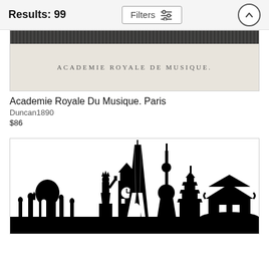Results: 99
Filters
[Figure (photo): Partial view of an antique engraving with text 'ACADEMIE ROYALE DE MUSIQUE' on aged paper with dark decorative border at top]
Academie Royale Du Musique. Paris
Duncan1890
$86
[Figure (illustration): Black silhouette illustration of world famous landmarks including Taj Mahal, Statue of Liberty, Big Ben, Eiffel Tower, Oriental Pearl Tower, Japanese pagoda, and Chinese pavilion against white background]